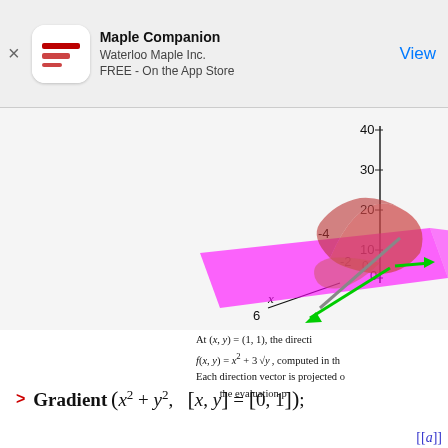[Figure (other): App store banner for Maple Companion by Waterloo Maple Inc., free on the App Store, with a View button]
[Figure (other): 3D mathematical surface plot showing a function with a tangent plane (pink/magenta), gradient vectors (green arrows), and the surface in red/orange, with axes labeled x and y, and z-axis values from 0 to 40]
At (x, y) = (1, 1), the directional derivative of f(x, y) = x^2 + 3 sqrt(y), computed in th... Each direction vector is projected o... the evaluation p...
[[...]]